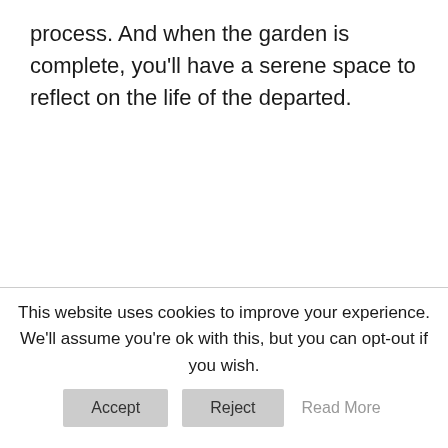process. And when the garden is complete, you'll have a serene space to reflect on the life of the departed.
This website uses cookies to improve your experience. We'll assume you're ok with this, but you can opt-out if you wish.
Accept | Reject | Read More